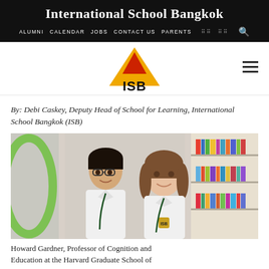International School Bangkok
Alumni  Calendar  Jobs  Contact Us  Parents
[Figure (logo): ISB logo with gold/red triangle above letters ISB]
By: Debi Caskey, Deputy Head of School for Learning, International School Bangkok (ISB)
[Figure (photo): Two young students in white school uniforms with green ISB lanyards smiling in front of a bookshelf library background]
Howard Gardner, Professor of Cognition and Education at the Harvard Graduate School of